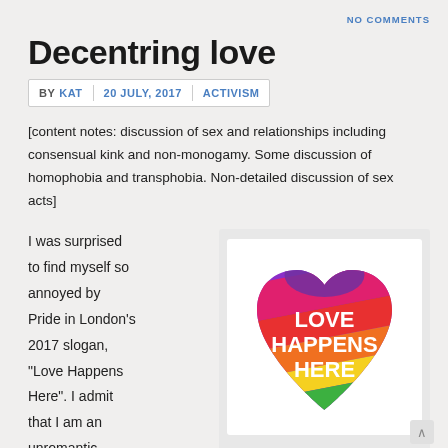NO COMMENTS
Decentring love
BY KAT  20 JULY, 2017  ACTIVISM
[content notes: discussion of sex and relationships including consensual kink and non-monogamy. Some discussion of homophobia and transphobia. Non-detailed discussion of sex acts]
I was surprised to find myself so annoyed by Pride in London's 2017 slogan, “Love Happens Here”. I admit that I am an unromantic grouch, but
[Figure (illustration): Rainbow heart shape with text 'LOVE HAPPENS HERE' in white bold letters, displayed on a white card background. The heart has diagonal rainbow stripes in colors from purple/pink at top to red, orange, yellow, green, blue at bottom, with a purple arc at the top center.]